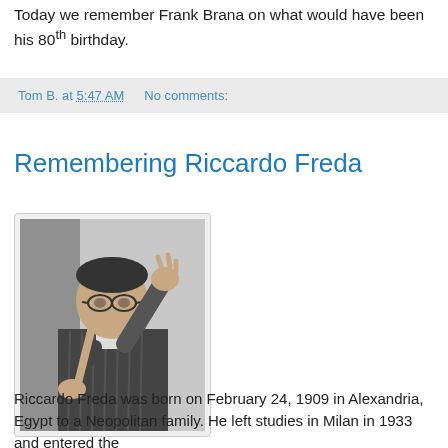Today we remember Frank Brana on what would have been his 80th birthday.
Tom B. at 5:47 AM   No comments:
Remembering Riccardo Freda
[Figure (photo): Black and white photograph of Riccardo Freda, a man with glasses gesturing with his hand, seated]
Riccardo Freda was born on February 24, 1909 in Alexandria, Egypt to a Neopolitan family. He left studies in Milan in 1933 and entered the